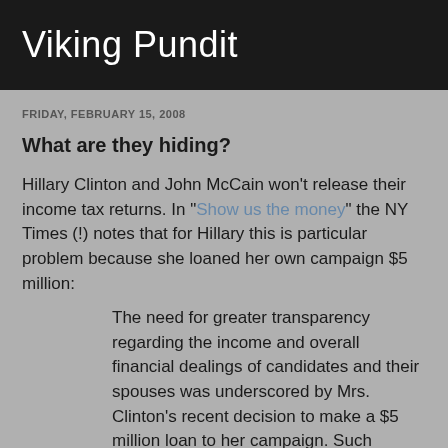Viking Pundit
FRIDAY, FEBRUARY 15, 2008
What are they hiding?
Hillary Clinton and John McCain won't release their income tax returns. In "Show us the money" the NY Times (!) notes that for Hillary this is particular problem because she loaned her own campaign $5 million:
The need for greater transparency regarding the income and overall financial dealings of candidates and their spouses was underscored by Mrs. Clinton's recent decision to make a $5 million loan to her campaign. Such borrowing is a permitted practice under the campaign laws. But the campaign said the money came from her